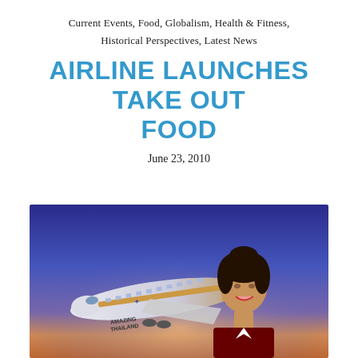Current Events, Food, Globalism, Health & Fitness, Historical Perspectives, Latest News
AIRLINE LAUNCHES TAKE OUT FOOD
June 23, 2010
[Figure (photo): A Thai Airways airplane with 'Amazing Thailand' livery on the fuselage, with a smiling Thai flight attendant in the foreground, set against a purple-blue sky at sunset.]